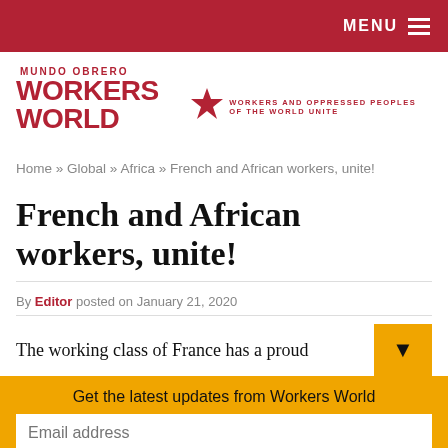MENU
[Figure (logo): Workers World / Mundo Obrero newspaper logo with star, tagline: WORKERS AND OPPRESSED PEOPLES OF THE WORLD UNITE]
Home » Global » Africa » French and African workers, unite!
French and African workers, unite!
By Editor posted on January 21, 2020
The working class of France has a proud
Get the latest updates from Workers World
Email address
Subscribe